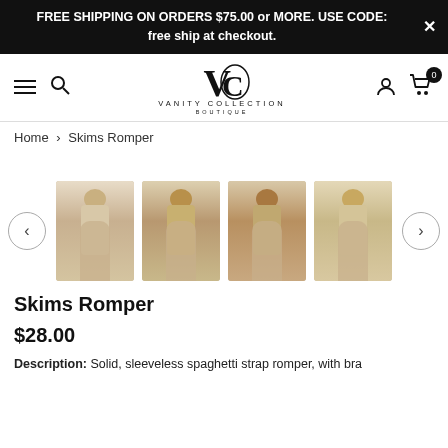FREE SHIPPING ON ORDERS $75.00 or MORE. USE CODE: free ship at checkout.
[Figure (logo): Vanity Collection Boutique logo with stylized VC monogram]
Home > Skims Romper
[Figure (photo): Four thumbnail photos of a model wearing a beige/nude sleeveless spaghetti strap romper in various poses outdoors]
Skims Romper
$28.00
Description: Solid, sleeveless spaghetti strap romper, with bra